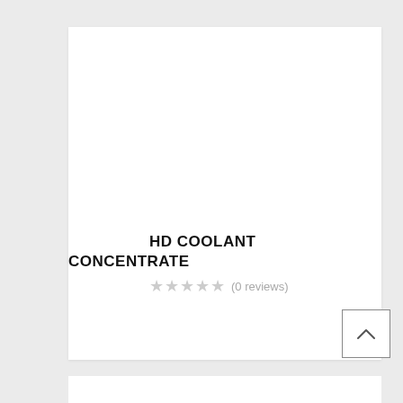HD COOLANT CONCENTRATE
(0 reviews)